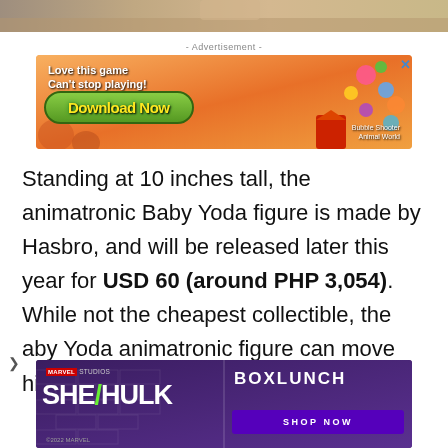[Figure (photo): Top portion of an image showing fabric/clothing texture in warm tan/gray tones]
- Advertisement -
[Figure (other): Mobile game advertisement banner with orange gradient background, text 'Love this game Can't stop playing!' and green 'Download Now' button, with Bubble Shooter Animal World branding]
Standing at 10 inches tall, the animatronic Baby Yoda figure is made by Hasbro, and will be released later this year for USD 60 (around PHP 3,054). While not the cheapest collectible, the aby Yoda animatronic figure can move his head
[Figure (other): Advertisement for Marvel Studios She-Hulk series with BoxLunch Shop Now button on purple brick background]